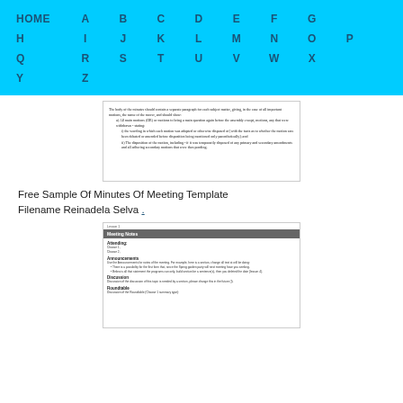HOME  A  B  C  D  E  F  G  H  I  J  K  L  M  N  O  P  Q  R  S  T  U  V  W  X  Y  Z
[Figure (screenshot): Scanned document page showing formatted text with indented list items about motions and assembly procedures]
Free Sample Of Minutes Of Meeting Template Filename Reinadela Selva .
[Figure (screenshot): Meeting Notes template document showing sections: Attending, Announcements, Discussion, Roundtable]